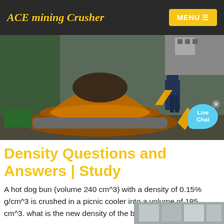ACE mining Crusher
[Figure (photo): Industrial mining crusher equipment - large orange/rust colored cone crusher component on factory floor with worker in background]
Density Questions and Answers | Study
A hot dog bun (volume 240 cm^3) with a density of 0.15% g/cm^3 is crushed in a picnic cooler into a volume of 195 cm^3. what is the new density of the bun? View Answer
Contact us
[Figure (photo): Partial thumbnail image at bottom right of page]